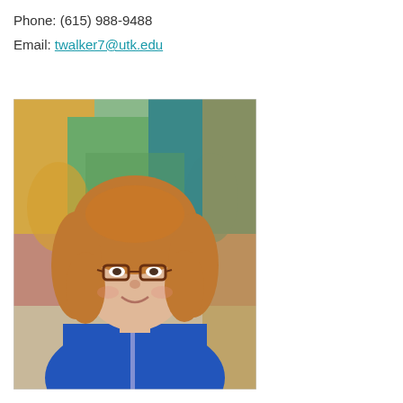Phone: (615) 988-9488
Email: twalker7@utk.edu
[Figure (photo): Headshot of a woman with curly reddish-blonde hair, wearing glasses and a blue patterned jacket, smiling in front of a colorful mural background.]